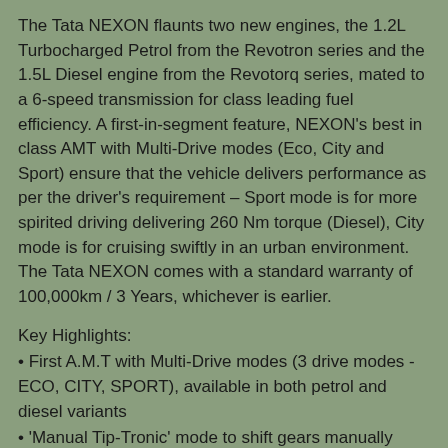The Tata NEXON flaunts two new engines, the 1.2L Turbocharged Petrol from the Revotron series and the 1.5L Diesel engine from the Revotorq series, mated to a 6-speed transmission for class leading fuel efficiency. A first-in-segment feature, NEXON's best in class AMT with Multi-Drive modes (Eco, City and Sport) ensure that the vehicle delivers performance as per the driver's requirement – Sport mode is for more spirited driving delivering 260 Nm torque (Diesel), City mode is for cruising swiftly in an urban environment. The Tata NEXON comes with a standard warranty of 100,000km / 3 Years, whichever is earlier.
Key Highlights:
• First A.M.T with Multi-Drive modes (3 drive modes - ECO, CITY, SPORT), available in both petrol and diesel variants
• 'Manual Tip-Tronic' mode to shift gears manually while enjoying a clutch free drive experience
• Crawl function with Smart Hill Assist for convenience in 'stop – and – go' city traffic
• Intelligent transmission controller with features such as anti-stall, kick-down and fast-off for an enthralling drive experience